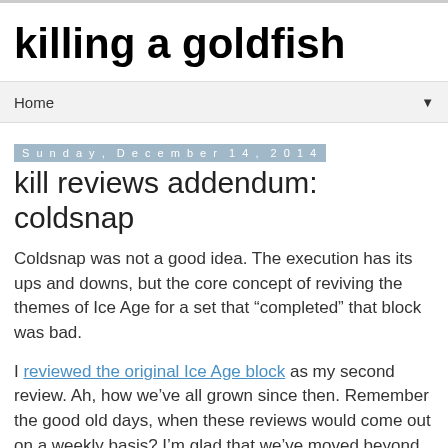killing a goldfish
Home
Sunday, December 14, 2014
kill reviews addendum: coldsnap
Coldsnap was not a good idea. The execution has its ups and downs, but the core concept of reviving the themes of Ice Age for a set that “completed” that block was bad.
I reviewed the original Ice Age block as my second review. Ah, how we’ve all grown since then. Remember the good old days, when these reviews would come out on a weekly basis? I’m glad that we’ve moved beyond such trivial preoccupations. Readers from way back when will remember that it was an alternate vision of Magic that emphasized marginal value gains and horribly bad creatures over the sort of immersive flavor-based gameplay that defined Alpha. Its